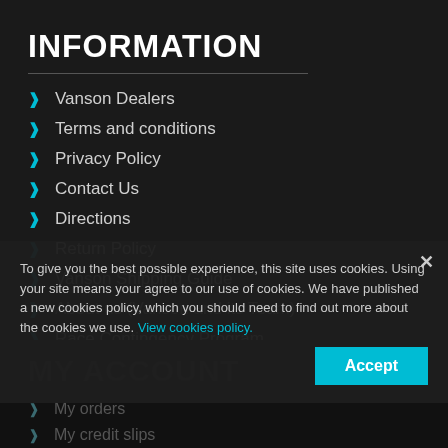INFORMATION
Vanson Dealers
Terms and conditions
Privacy Policy
Contact Us
Directions
Return Policy
Vanson Shipping Guide
About us (Vanson and its Team)
Race Contingency Program
MY ACCOUNT
My orders
My credit slips
To give you the best possible experience, this site uses cookies. Using your site means your agree to our use of cookies. We have published a new cookies policy, which you should need to find out more about the cookies we use. View cookies policy.